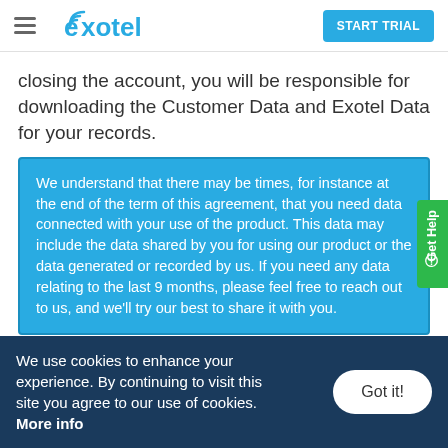Exotel — START TRIAL
closing the account, you will be responsible for downloading the Customer Data and Exotel Data for your records.
We understand that there may be times, for instance at the end of the term of this agreement, that you need data connected with your use of the product. This data may include the data shared by you for using our product or the data generated or recorded by us. If you need any data relating to the last 9 months, please feel free to reach out to us, and we'll try our best to share it with you.
We use cookies to enhance your experience. By continuing to visit this site you agree to our use of cookies. More info